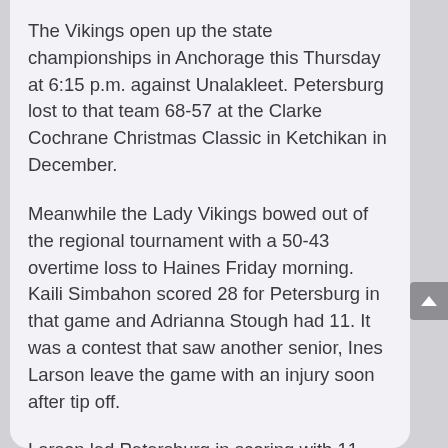The Vikings open up the state championships in Anchorage this Thursday at 6:15 p.m. against Unalakleet. Petersburg lost to that team 68-57 at the Clarke Cochrane Christmas Classic in Ketchikan in December.
Meanwhile the Lady Vikings bowed out of the regional tournament with a 50-43 overtime loss to Haines Friday morning. Kaili Simbahon scored 28 for Petersburg in that game and Adrianna Stough had 11. It was a contest that saw another senior, Ines Larson leave the game with an injury soon after tip off.
Larson led Petersburg in scoring with 11 points in the opening round loss to Metlakatla while Simbahon scored nine.